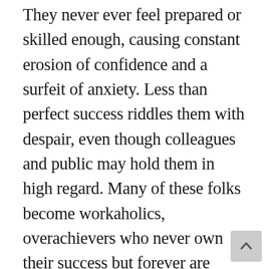They never ever feel prepared or skilled enough, causing constant erosion of confidence and a surfeit of anxiety. Less than perfect success riddles them with despair, even though colleagues and public may hold them in high regard. Many of these folks become workaholics, overachievers who never own their success but forever are suspicious of it. For those suffering from the “fraud syndrome”, each success is perceived as a fluke or the result of Herculean effort. Thus the more they accomplish, the more their feelings of fraudulence